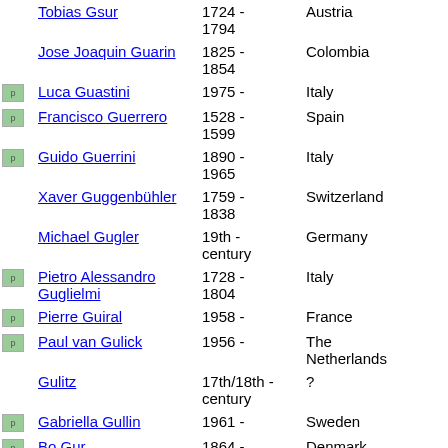|  | Name | Dates | Country | # |
| --- | --- | --- | --- | --- |
|  | Tobias Gsur | 1724 - 1794 | Austria | 3 |
|  | Jose Joaquin Guarin | 1825 - 1854 | Colombia | 1 |
| p | Luca Guastini | 1975 - | Italy | 1 |
| p | Francisco Guerrero | 1528 - 1599 | Spain | 5 |
| p | Guido Guerrini | 1890 - 1965 | Italy | 1 |
|  | Xaver Guggenbühler | 1759 - 1838 | Switzerland | 1 |
|  | Michael Gugler | 19th - century | Germany | 3 |
| p | Pietro Alessandro Guglielmi | 1728 - 1804 | Italy | 1 |
| p | Pierre Guiral | 1958 - | France | 1 |
| p | Paul van Gulick | 1956 - | The Netherlands | 1 |
|  | Gulitz | 17th/18th - century | ? | 1 |
| p | Gabriella Gullin | 1961 - | Sweden | 1 |
| p | Bo Gur... | 1864 - | Denmark | 1 |